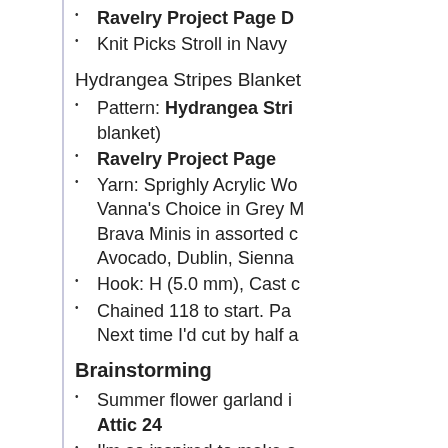Ravelry Project Page D...
Knit Picks Stroll in Navy
Hydrangea Stripes Blanket
Pattern: Hydrangea Stri... blanket)
Ravelry Project Page
Yarn: Sprighly Acrylic Wo... Vanna's Choice in Grey M... Brava Minis in assorted c... Avocado, Dublin, Sienna
Hook: H (5.0 mm), Cast c
Chained 118 to start. Pa... Next time I'd cut by half a
Brainstorming
Summer flower garland i... Attic 24
I'm so inspired to make a... Emily (butterflyem4 on... Top by The Knotty Lace s
A few from my Etsy Favo... Crochet, CosmoknitsCr...
From the Armchair